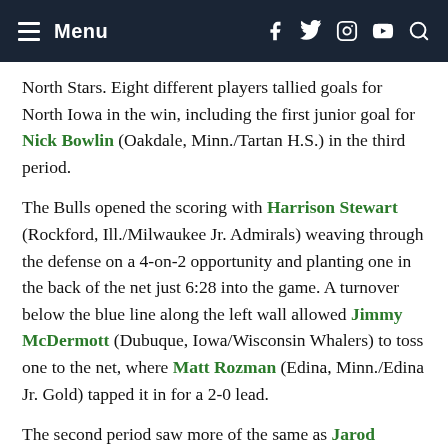Menu
North Stars. Eight different players tallied goals for North Iowa in the win, including the first junior goal for Nick Bowlin (Oakdale, Minn./Tartan H.S.) in the third period.
The Bulls opened the scoring with Harrison Stewart (Rockford, Ill./Milwaukee Jr. Admirals) weaving through the defense on a 4-on-2 opportunity and planting one in the back of the net just 6:28 into the game. A turnover below the blue line along the left wall allowed Jimmy McDermott (Dubuque, Iowa/Wisconsin Whalers) to toss one to the net, where Matt Rozman (Edina, Minn./Edina Jr. Gold) tapped it in for a 2-0 lead.
The second period saw more of the same as Jarod Blackowiak (Eden Prairie, Minn./North Iowa Bulls) continued his torrid goal-scoring ways at the 4:22 mark with a one-timer from the inside hash marks to make it 3-0. McDermott added a goal of his own with 7:23 to go in